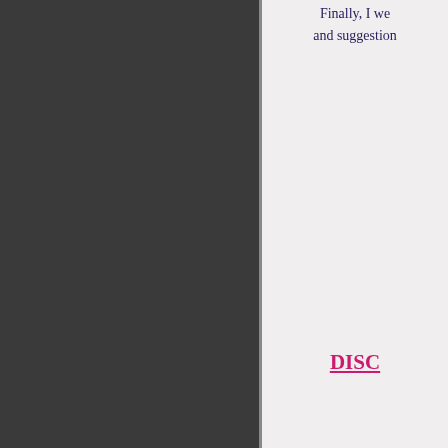Finally, I we and suggestion
DISC
Confidentiality and and their identity
Medicine is an ever-challem be followed, but as new re knowledge, changes in treat or appropriate. Readers product and treatment infor physician, relying on ex determine the indication
The author do not assume a property caused by the usage